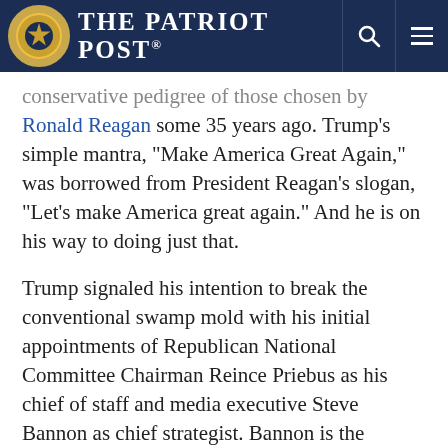The Patriot Post
conservative pedigree of those chosen by Ronald Reagan some 35 years ago. Trump's simple mantra, "Make America Great Again," was borrowed from President Reagan's slogan, "Let's make America great again." And he is on his way to doing just that.
Trump signaled his intention to break the conventional swamp mold with his initial appointments of Republican National Committee Chairman Reince Priebus as his chief of staff and media executive Steve Bannon as chief strategist. Bannon is the quintessential outsider, and he'll be charged with holding Trump's populist coalition together. Conversely, Priebus is the quintessential insider, and he'll team with Pence, House Speaker Paul Ryan and Senate Majority Leader Mitch McConnell to steward Trump's legislative agenda